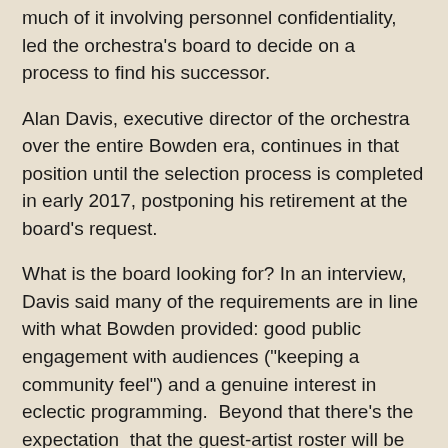much of it involving personnel confidentiality, led the orchestra's board to decide on a process to find his successor.
Alan Davis, executive director of the orchestra over the entire Bowden era, continues in that position until the selection process is completed in early 2017, postponing his retirement at the board's request.
What is the board looking for? In an interview, Davis said many of the requirements are in line with what Bowden provided: good public engagement with audiences ("keeping a community feel") and a genuine interest in eclectic programming.  Beyond that there's the expectation  that the guest-artist roster will be wider and that a more consistent acknowledgment of the job's parameters will be observed.
As of last month, there were 12 semifinalists — a field that is being narrowed to three or four this week. The search committee of 11 (four musicians, four board members, and three community "at-large" members) began its work last summer. It received 130 applications. Operating with